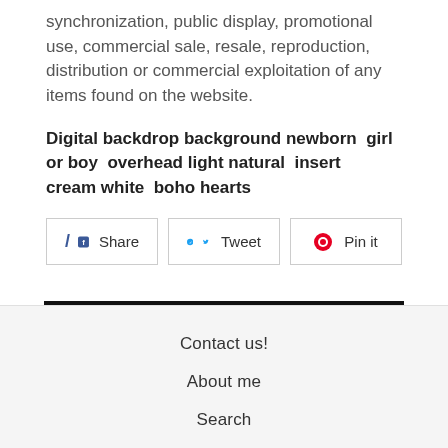synchronization, public display, promotional use, commercial sale, resale, reproduction, distribution or commercial exploitation of any items found on the website.
Digital backdrop background newborn  girl or boy  overhead light natural  insert   cream white  boho hearts
[Figure (other): Social share buttons: Facebook Share, Twitter Tweet, Pinterest Pin it]
[Figure (other): Back navigation button with left arrow]
Contact us!
About me
Search